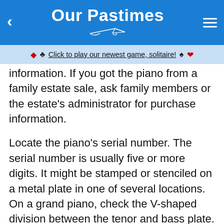Our Pastimes
♦ ♣ Click to play our newest game, solitaire! ♠ ♥
information. If you got the piano from a family estate sale, ask family members or the estate's administrator for purchase information.
Locate the piano's serial number. The serial number is usually five or more digits. It might be stamped or stenciled on a metal plate in one of several locations. On a grand piano, check the V-shaped division between the tenor and bass plate. You might also find the number stamped on the soundboard underneath the strings. The serial number of a Cunningham upright is